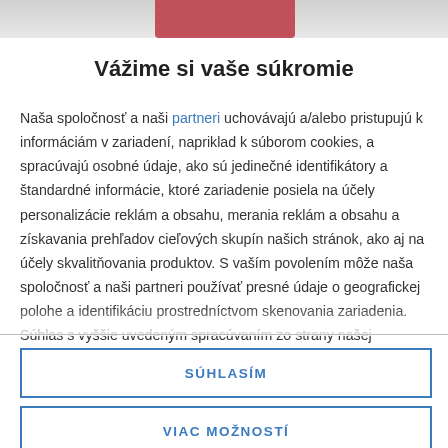[Figure (photo): Top image strip showing a partially visible background image with reddish content in center]
Vážime si vaše súkromie
Naša spoločnosť a naši partneri uchovávajú a/alebo pristupujú k informáciám v zariadení, napriklad k súborom cookies, a spracúvajú osobné údaje, ako sú jedinečné identifikátory a štandardné informácie, ktoré zariadenie posiela na účely personalizácie reklám a obsahu, merania reklám a obsahu a získavania prehľadov cieľových skupín našich stránok, ako aj na účely skvalitňovania produktov. S vaším povolením môže naša spoločnosť a naši partneri používať presné údaje o geografickej polohe a identifikáciu prostredníctvom skenovania zariadenia. Súhlas s vyššie uvedeným spracúvaním zo strany našej spoločnosti a našich partnerov môžete poskytnúť kliknutím na príslušné tlačidlo. Skôr než súhlas poskytnete alebo odmietnete
SÚHLASÍM
VIAC MOŽNOSTÍ